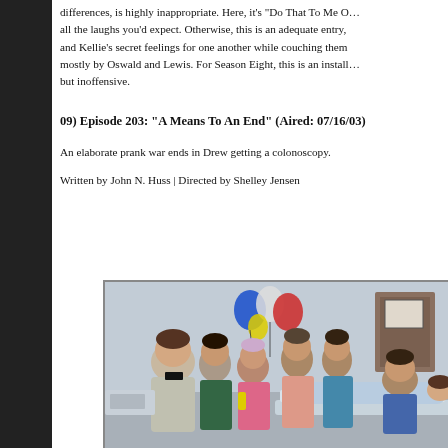differences, is highly inappropriate. Here, it's "Do That To Me O… all the laughs you'd expect. Otherwise, this is an adequate entry, and Kellie's secret feelings for one another while couching them mostly by Oswald and Lewis. For Season Eight, this is an install… but inoffensive.
09) Episode 203: "A Means To An End" (Aired: 07/16/03)
An elaborate prank war ends in Drew getting a colonoscopy.
Written by John N. Huss | Directed by Shelley Jensen
[Figure (photo): A scene from the episode showing multiple characters standing around a person lying on a medical table in what appears to be a hospital or medical setting, with colorful balloons visible in the background.]